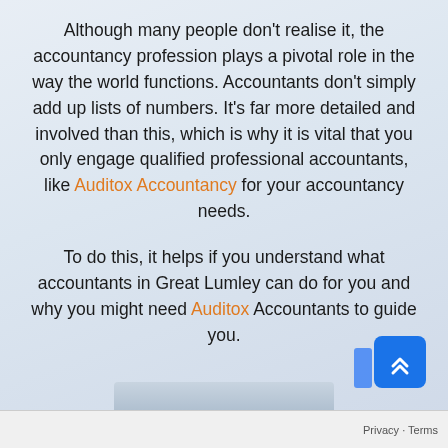Although many people don't realise it, the accountancy profession plays a pivotal role in the way the world functions. Accountants don't simply add up lists of numbers. It's far more detailed and involved than this, which is why it is vital that you only engage qualified professional accountants, like Auditox Accountancy for your accountancy needs.
To do this, it helps if you understand what accountants in Great Lumley can do for you and why you might need Auditox Accountants to guide you.